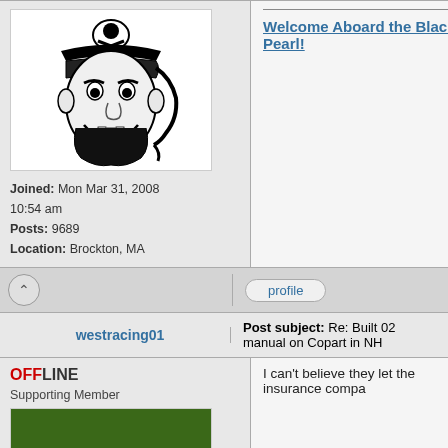[Figure (illustration): Cartoon pirate head with skull and crossbones hat, black and white illustration]
Joined: Mon Mar 31, 2008 10:54 am
Posts: 9689
Location: Brockton, MA
profile
westracing01
Post subject: Re: Built 02 manual on Copart in NH
OFFLINE
Supporting Member
[Figure (photo): Racing car (modified/open wheel race car) on track, low angle photo]
Joined: Mon Jun 24, 2013 8:48 am
Posts: 249
Location: New Milford, CT
I can't believe they let the insurance compa
profile